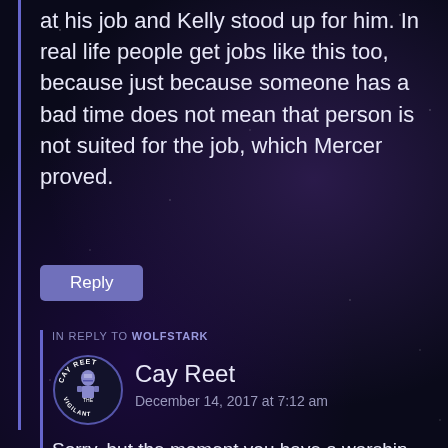at his job and Kelly stood up for him. In real life people get jobs like this too, because just because someone has a bad time does not mean that person is not suited for the job, which Mercer proved.
Reply
IN REPLY TO WOLFSTARK
[Figure (logo): Cay Reet circular avatar logo with text CAY REET and VIGILANT around a knight/warrior figure]
Cay Reet
December 14, 2017 at 7:12 am
Sorry, but the moment you have a warship, you are a military or at least paramilitary